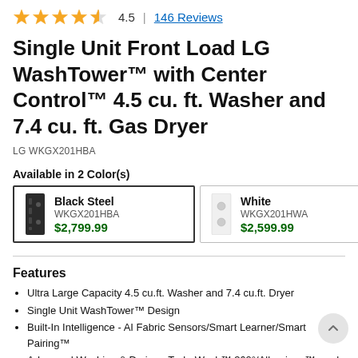[Figure (other): Star rating row showing 4.5 stars (4 filled, 1 half), rating number 4.5, and link to 146 Reviews]
Single Unit Front Load LG WashTower™ with Center Control™ 4.5 cu. ft. Washer and 7.4 cu. ft. Gas Dryer
LG WKGX201HBA
Available in 2 Color(s)
| Black Steel | WKGX201HBA | $2,799.99 |
| White | WKGX201HWA | $2,599.99 |
Features
Ultra Large Capacity 4.5 cu.ft. Washer and 7.4 cu.ft. Dryer
Single Unit WashTower™ Design
Built-In Intelligence - AI Fabric Sensors/Smart Learner/Smart Pairing™
Advanced Washing & Drying - TurboWash™ 360°/Allergiene™ wash cycle/ TurboSteam™